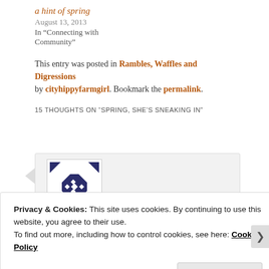a hint of spring
August 13, 2013
In “Connecting with Community”
This entry was posted in Rambles, Waffles and Digressions by cityhippyfarmgirl. Bookmark the permalink.
15 THOUGHTS ON “SPRING, SHE’S SNEAKING IN”
[Figure (illustration): User avatar with geometric star/cross pattern in navy blue and white on white background]
Privacy & Cookies: This site uses cookies. By continuing to use this website, you agree to their use.
To find out more, including how to control cookies, see here: Cookie Policy
Close and accept